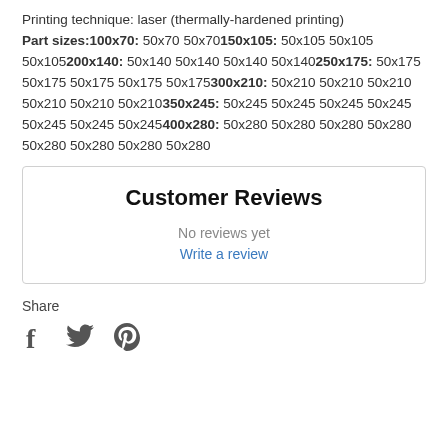Printing technique: laser (thermally-hardened printing) Part sizes:100x70: 50x70 50x70 150x105: 50x105 50x105 50x105 200x140: 50x140 50x140 50x140 50x140 250x175: 50x175 50x175 50x175 50x175 50x175 300x210: 50x210 50x210 50x210 50x210 50x210 50x210 350x245: 50x245 50x245 50x245 50x245 50x245 50x245 50x245 400x280: 50x280 50x280 50x280 50x280 50x280 50x280 50x280 50x280
Customer Reviews
No reviews yet
Write a review
Share